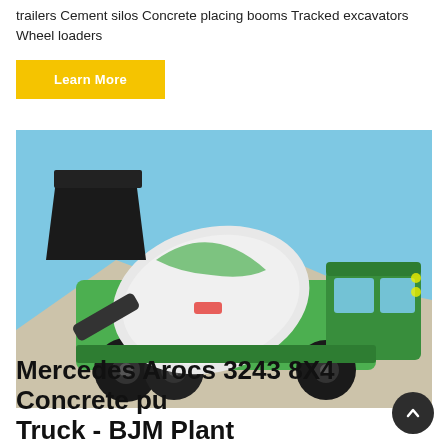trailers Cement silos Concrete placing booms Tracked excavators Wheel loaders
[Figure (illustration): Button labeled 'Learn More' with yellow background]
[Figure (photo): A green and white self-loading concrete mixer truck (Mercedes Arocs style) photographed outdoors against a blue sky with a mound of aggregate material behind it.]
Mercedes Arocs 3243 8X4 Concrete pump Truck - BJM Plant